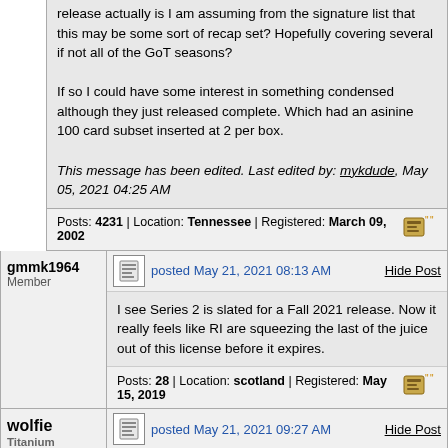release actually is I am assuming from the signature list that this may be some sort of recap set? Hopefully covering several if not all of the GoT seasons?

If so I could have some interest in something condensed although they just released complete. Which had an asinine 100 card subset inserted at 2 per box.

This message has been edited. Last edited by: mykdude, May 05, 2021 04:25 AM
Posts: 4231 | Location: Tennessee | Registered: March 09, 2002
gmmk1964
Member
posted May 21, 2021 08:13 AM
I see Series 2 is slated for a Fall 2021 release. Now it really feels like RI are squeezing the last of the juice out of this license before it expires.
Posts: 28 | Location: scotland | Registered: May 15, 2019
wolfie
Titanium Card Talk Member
posted May 21, 2021 09:27 AM
If i was the company i would refuse to pay the artist if they could not be bothered to sign properly and just do initials or a squiggle.
Come, it is time for you to keep your appointment with